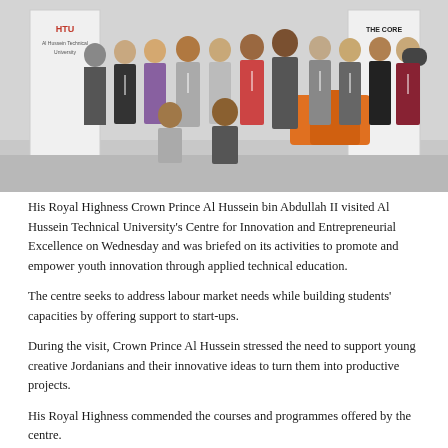[Figure (photo): Group photo of approximately 14 people standing and kneeling in front of HTU (Al Hussein Technical University) banners and The Core signage, taken indoors at a modern facility with orange seating visible in the background.]
His Royal Highness Crown Prince Al Hussein bin Abdullah II visited Al Hussein Technical University’s Centre for Innovation and Entrepreneurial Excellence on Wednesday and was briefed on its activities to promote and empower youth innovation through applied technical education.
The centre seeks to address labour market needs while building students’ capacities by offering support to start-ups.
During the visit, Crown Prince Al Hussein stressed the need to support young creative Jordanians and their innovative ideas to turn them into productive projects.
His Royal Highness commended the courses and programmes offered by the centre.
The Crown Prince also toured the centre’s facilities and was briefed on